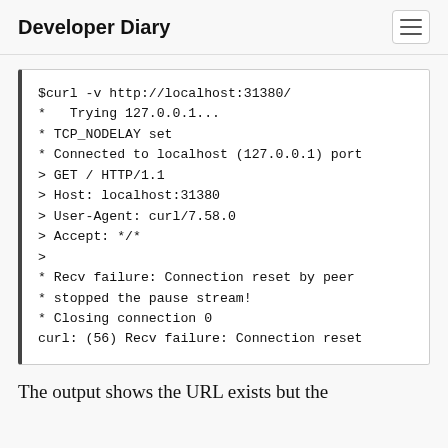Developer Diary
$curl -v http://localhost:31380/
*   Trying 127.0.0.1...
* TCP_NODELAY set
* Connected to localhost (127.0.0.1) port
> GET / HTTP/1.1
> Host: localhost:31380
> User-Agent: curl/7.58.0
> Accept: */*
>
* Recv failure: Connection reset by peer
* stopped the pause stream!
* Closing connection 0
curl: (56) Recv failure: Connection reset
The output shows the URL exists but the